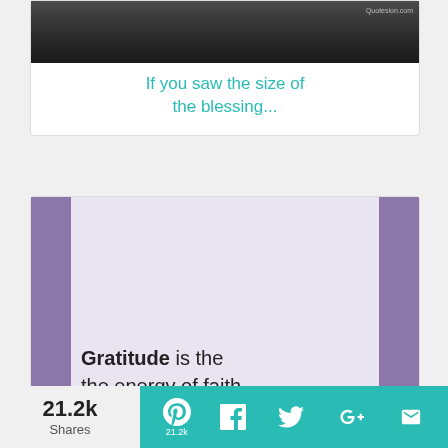[Figure (photo): Dark atmospheric photo with Quotesion.com watermark (partially visible at top)]
If you saw the size of the blessing...
[Figure (illustration): Quote card with purple side bars on light lavender background. Text: 'Gratitude is the the energy of faith.' by William Arthur Ward // Quotesion.com]
#Gratitude is the the energy of #fa...
21.2k Shares  [Pinterest 21.2k] [Facebook] [Twitter] [Google+] [email]